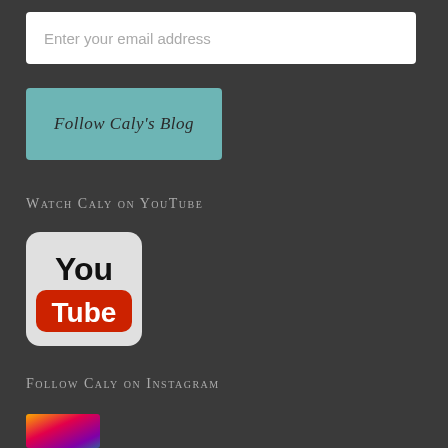Enter your email address
Follow Caly's Blog
Watch Caly on YouTube
[Figure (logo): YouTube logo with 'You' in black text on white/grey rounded rectangle background and 'Tube' in white text on red rounded rectangle]
Follow Caly on Instagram
[Figure (photo): Partial Instagram preview image, colorful, cropped at bottom of page]